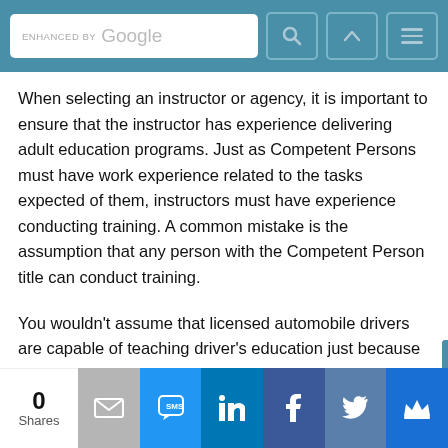ENHANCED BY Google [search bar with icons]
When selecting an instructor or agency, it is important to ensure that the instructor has experience delivering adult education programs. Just as Competent Persons must have work experience related to the tasks expected of them, instructors must have experience conducting training. A common mistake is the assumption that any person with the Competent Person title can conduct training.
You wouldn't assume that licensed automobile drivers are capable of teaching driver's education just because they have a driver's license. Again, when choosing an instructor, employers should list the tasks that are expected of their Competent Persons before looking at training options. If delivering training is a required skill set, employers must make sure their instructor has experience to assess.
0 Shares | email | SMS | LinkedIn | Facebook | Twitter | Crown